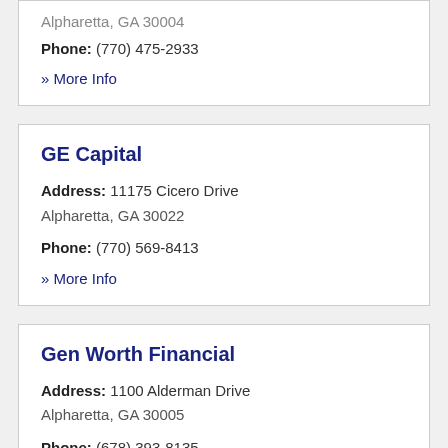Alpharetta, GA 30004
Phone: (770) 475-2933
» More Info
GE Capital
Address: 11175 Cicero Drive Alpharetta, GA 30022
Phone: (770) 569-8413
» More Info
Gen Worth Financial
Address: 1100 Alderman Drive Alpharetta, GA 30005
Phone: (678) 393-8135